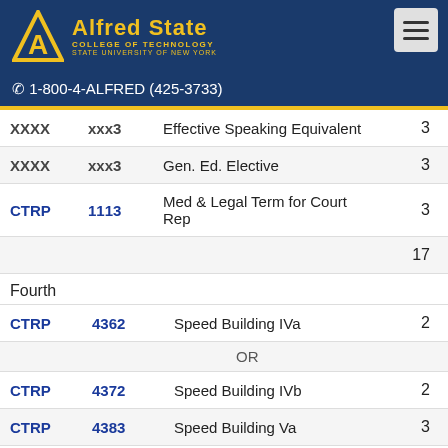[Figure (logo): Alfred State College of Technology - State University of New York logo with gold triangle/A symbol]
☎ 1-800-4-ALFRED (425-3733)
| Dept | Num | Course Name | Credits |
| --- | --- | --- | --- |
| XXXX | xxx3 | Effective Speaking Equivalent | 3 |
| XXXX | xxx3 | Gen. Ed. Elective | 3 |
| CTRP | 1113 | Med & Legal Term for Court Rep | 3 |
|  |  |  | 17 |
|  |  | Fourth |  |
| CTRP | 4362 | Speed Building IVa | 2 |
|  |  | OR |  |
| CTRP | 4372 | Speed Building IVb | 2 |
| CTRP | 4383 | Speed Building Va | 3 |
|  |  | OR |  |